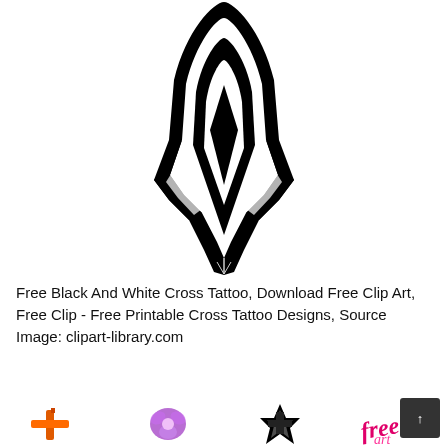[Figure (illustration): A black and white cross tattoo design resembling a fountain pen nib or gothic cross spear shape, with bold black fill and white outline detail, pointed at the bottom with wing-like elements]
Free Black And White Cross Tattoo, Download Free Clip Art, Free Clip - Free Printable Cross Tattoo Designs, Source Image: clipart-library.com
[Figure (illustration): Row of small tattoo design thumbnail images: orange cross/sword, purple floral design, black gothic cross design, pink/red decorative script]